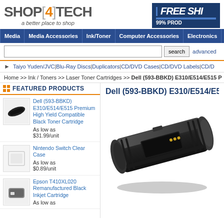[Figure (logo): Shop4Tech logo with tagline 'a better place to shop']
[Figure (logo): FREE SHIPPING banner with 99% PROD text]
Media | Media Accessories | Ink/Toner | Computer Accessories | Electronics | Barrier Ba
search | advanced
Taiyo Yuden/JVC | Blu-Ray Discs | Duplicators | CD/DVD Cases | CD/DVD Labels | CD/D
Home >> Ink / Toners >> Laser Toner Cartridges >> Dell (593-BBKD) E310/E514/E515 P
FEATURED PRODUCTS
[Figure (photo): Small thumbnail of Dell toner cartridge]
Dell (593-BBKD) E310/E514/E515 Premium High Yield Compatible Black Toner Cartridge
As low as $31.99/unit
[Figure (photo): Small thumbnail of Nintendo Switch Clear Case]
Nintendo Switch Clear Case
As low as $0.89/unit
[Figure (photo): Small thumbnail of Epson T410XL020 cartridge]
Epson T410XL020 Remanufactured Black Inkjet Cartridge
Dell (593-BBKD) E310/E514/E515 Prem
[Figure (photo): Large product image of Dell 593-BBKD black toner cartridge]